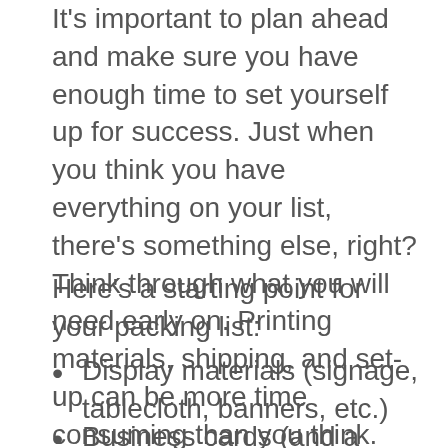It's important to plan ahead and make sure you have enough time to set yourself up for success. Just when you think you have everything on your list, there's something else, right? Think through what you will need early on. Printing materials, shipping, and set-up can be more time consuming than you think.
Here's a starting point for your packing list:
Display materials (signage, tablecloth, banners, etc.)
Business cards (and a pouch to